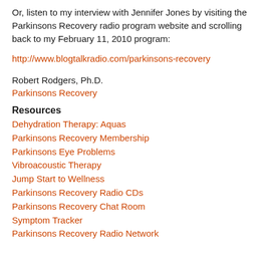Or, listen to my interview with Jennifer Jones by visiting the Parkinsons Recovery radio program website and scrolling back to my February 11, 2010 program:
http://www.blogtalkradio.com/parkinsons-recovery
Robert Rodgers, Ph.D.
Parkinsons Recovery
Resources
Dehydration Therapy: Aquas
Parkinsons Recovery Membership
Parkinsons Eye Problems
Vibroacoustic Therapy
Jump Start to Wellness
Parkinsons Recovery Radio CDs
Parkinsons Recovery Chat Room
Symptom Tracker
Parkinsons Recovery Radio Network